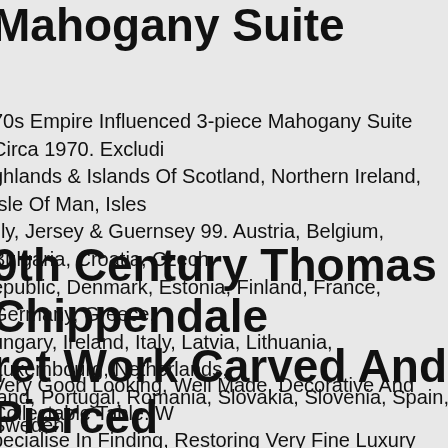Mahogany Suite
70s Empire Influenced 3-piece Mahogany Suite Circa 1970. Excluding Highlands & Islands Of Scotland, Northern Ireland, Isle Of Man, Isles of Scilly, Jersey & Guernsey 99. Austria, Belgium, Bulgaria, Croatia, Czech Republic, Denmark, Estonia, Finland, France, Germany, Greece, Hungary, Ireland, Italy, Latvia, Lithuania, Luxembourg, Netherlands, Poland, Portugal, Romania, Slovakia, Slovenia, Spain, Sweden.
19th Century Thomas Chippendale Fret Work Carved And Pierced Occasional Table
Very Good Looking, Well Made, Decorative And Collectable Table. We Specialise In Finding, Restoring Very Fine Luxury Antique Leather Seating, Along With Every Single Other Type Of Antique Ranging From... ne 16.